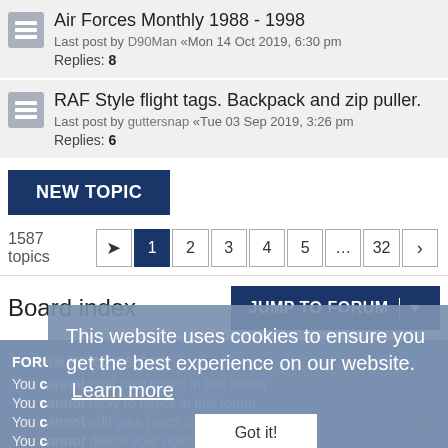Air Forces Monthly 1988 - 1998
Last post by D90Man «Mon 14 Oct 2019, 6:30 pm
Replies: 8
RAF Style flight tags. Backpack and zip puller.
Last post by guttersnap «Tue 03 Sep 2019, 3:26 pm
Replies: 6
NEW TOPIC
1587 topics  1 2 3 4 5 … 32 >
Board index
JUMP TO FORUM
FORUM PERMISSIONS
You cannot post new topics in this forum
You cannot reply to topics in this forum
You cannot edit your posts in this forum
You cannot delete your posts in this forum
This website uses cookies to ensure you get the best experience on our website. Learn more
Got it!